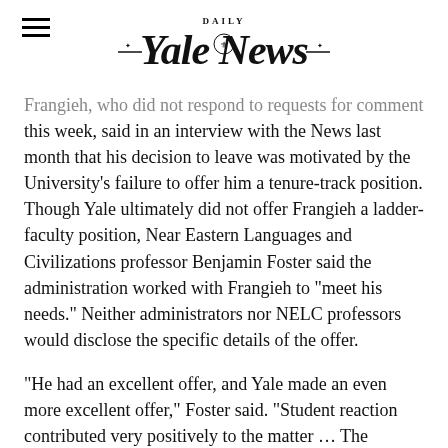Yale Daily News
Frangieh, who did not respond to requests for comment this week, said in an interview with the News last month that his decision to leave was motivated by the University’s failure to offer him a tenure-track position. Though Yale ultimately did not offer Frangieh a ladder-faculty position, Near Eastern Languages and Civilizations professor Benjamin Foster said the administration worked with Frangieh to “meet his needs.” Neither administrators nor NELC professors would disclose the specific details of the offer.
“He had an excellent offer, and Yale made an even more excellent offer,” Foster said. “Student reaction contributed very positively to the matter … The students were